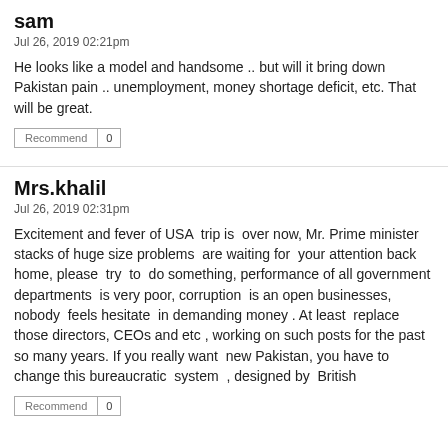sam
Jul 26, 2019 02:21pm
He looks like a model and handsome .. but will it bring down Pakistan pain .. unemployment, money shortage deficit, etc. That will be great.
Recommend | 0
Mrs.khalil
Jul 26, 2019 02:31pm
Excitement and fever of USA  trip is  over now, Mr. Prime minister  stacks of huge size problems  are waiting for  your attention back home, please  try  to  do something, performance of all government departments  is very poor, corruption  is an open businesses, nobody  feels hesitate  in demanding money . At least  replace those directors, CEOs and etc , working on such posts for the past so many years. If you really want  new Pakistan, you have to change this bureaucratic  system  , designed by  British
Recommend | 0